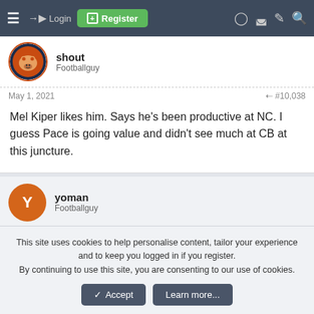Login | Register
shout
Footballguy
May 1, 2021  #10,038
Mel Kiper likes him. Says he's been productive at NC. I guess Pace is going value and didn't see much at CB at this juncture.
yoman
Footballguy
May 1, 2021  #10,039
This site uses cookies to help personalise content, tailor your experience and to keep you logged in if you register.
By continuing to use this site, you are consenting to our use of cookies.